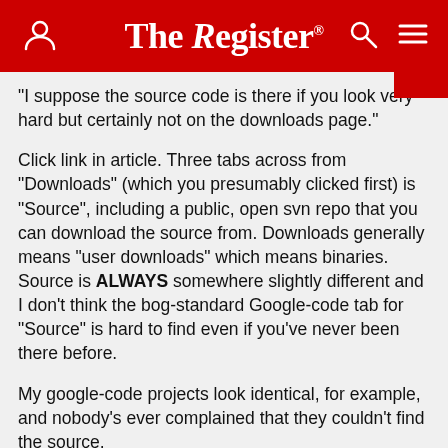The Register
"I suppose the source code is there if you look very hard but certainly not on the downloads page."
Click link in article. Three tabs across from "Downloads" (which you presumably clicked first) is "Source", including a public, open svn repo that you can download the source from. Downloads generally means "user downloads" which means binaries. Source is ALWAYS somewhere slightly different and I don't think the bog-standard Google-code tab for "Source" is hard to find even if you've never been there before.
My google-code projects look identical, for example, and nobody's ever complained that they couldn't find the source.
0  0